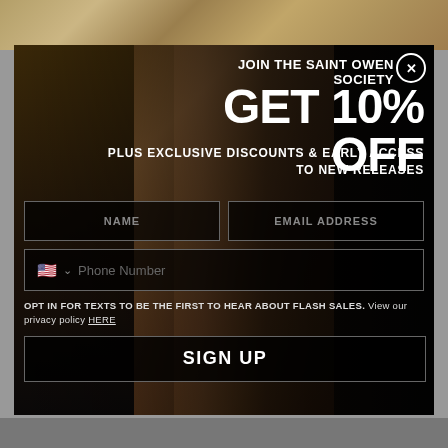[Figure (screenshot): Fashion brand email signup popup modal on dark background. Features a woman in sunglasses and leather jacket against a textured wall. Modal has close button (X), headline text, promotional offer, form fields for name, email, phone number, opt-in text, and sign up button.]
JOIN THE SAINT OWEN SOCIETY
GET 10% OFF
PLUS EXCLUSIVE DISCOUNTS & EARLY ACCESS TO NEW RELEASES
NAME
EMAIL ADDRESS
Phone Number
OPT IN FOR TEXTS TO BE THE FIRST TO HEAR ABOUT FLASH SALES. View our privacy policy HERE
SIGN UP